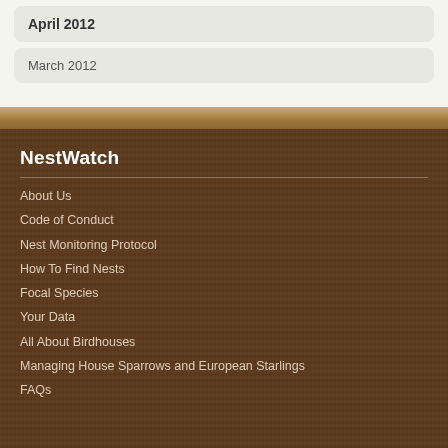April 2012
March 2012
NestWatch
About Us
Code of Conduct
Nest Monitoring Protocol
How To Find Nests
Focal Species
Your Data
All About Birdhouses
Managing House Sparrows and European Starlings
FAQs